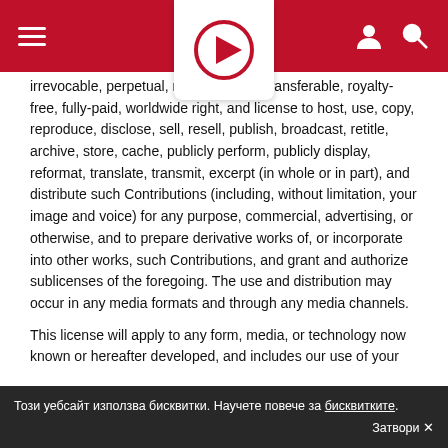[Figure (logo): Red navigation header bar with hamburger menu icon on left, circular play button logo in center white box, user and search icons on right]
irrevocable, perpetual, non-exclusive, transferable, royalty-free, fully-paid, worldwide right, and license to host, use, copy, reproduce, disclose, sell, resell, publish, broadcast, retitle, archive, store, cache, publicly perform, publicly display, reformat, translate, transmit, excerpt (in whole or in part), and distribute such Contributions (including, without limitation, your image and voice) for any purpose, commercial, advertising, or otherwise, and to prepare derivative works of, or incorporate into other works, such Contributions, and grant and authorize sublicenses of the foregoing. The use and distribution may occur in any media formats and through any media channels.
This license will apply to any form, media, or technology now known or hereafter developed, and includes our use of your name, company name, and franchise name, as applicable, and any of the trademarks, service marks, trade names, logos, and personal and commercial images you provide. You waive all moral rights in your Contributions, and you warrant that moral rights have not otherwise been asserted in your Contributions.
We do not assert any ownership over your Contributions. You retain full ownership of all of your Contributions and any
Този уебсайт използва бисквитки. Научете повече за бисквитките.  Затвори ✕